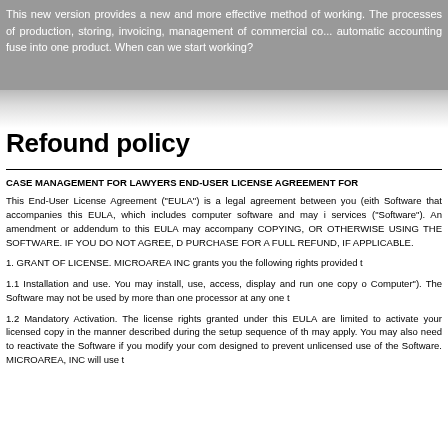This new version provides a new and more effective method of working. The processes of production, storing, invoicing, management of commercial co... automatic accounting fuse into one product. When can we start working?
Refound policy
CASE MANAGEMENT FOR LAWYERS END-USER LICENSE AGREEMENT FOR
This End-User License Agreement ("EULA") is a legal agreement between you (eith Software that accompanies this EULA, which includes computer software and may i services ("Software"). An amendment or addendum to this EULA may accompany COPYING, OR OTHERWISE USING THE SOFTWARE. IF YOU DO NOT AGREE, D PURCHASE FOR A FULL REFUND, IF APPLICABLE.
1. GRANT OF LICENSE. MICROAREA INC grants you the following rights provided t
1.1 Installation and use. You may install, use, access, display and run one copy o Computer"). The Software may not be used by more than one processor at any one t
1.2 Mandatory Activation. The license rights granted under this EULA are limited to activate your licensed copy in the manner described during the setup sequence of th may apply. You may also need to reactivate the Software if you modify your com designed to prevent unlicensed use of the Software. MICROAREA, INC will use t